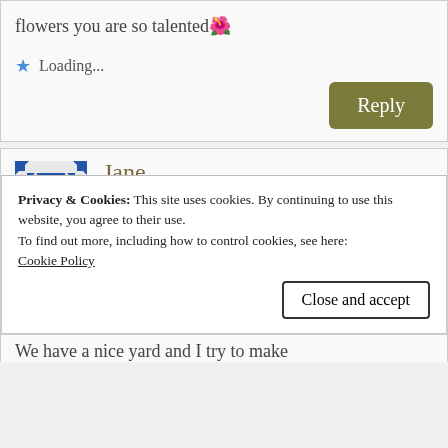flowers you are so talented 🌺
Loading...
Reply
Jane
April 27, 2020 at 7:27 am
Happy Monday! Thanks for sharing your book and flower therapy this morning.
Privacy & Cookies: This site uses cookies. By continuing to use this website, you agree to their use.
To find out more, including how to control cookies, see here:
Cookie Policy
Close and accept
We have a nice yard and I try to make